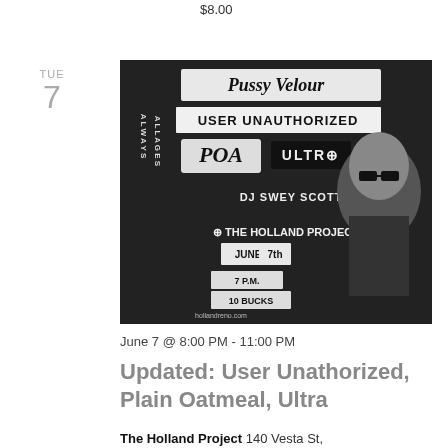$8.00
TUE 7
[Figure (photo): Black and white punk/indie concert flyer collage with text reading: Pussy Velour, User Unauthorized, POA, Ultra, DJ Swey Scott, The Holland Project, June 7th, Always All Ages, 7 P.M., 10 Bucks, hollandreno.com]
June 7 @ 8:00 PM - 11:00 PM
Updated: User Unathorized, Plain Oatmeal, Ultra
The Holland Project 140 Vesta St, Reno, NV